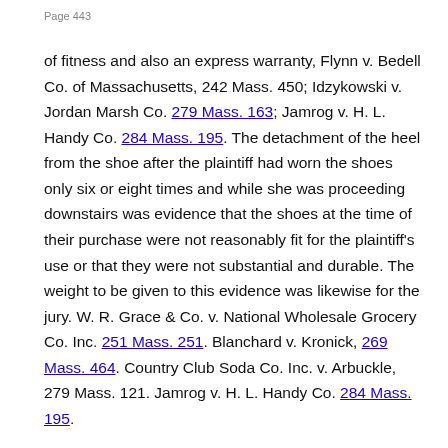Page 443
of fitness and also an express warranty, Flynn v. Bedell Co. of Massachusetts, 242 Mass. 450; Idzykowski v. Jordan Marsh Co. 279 Mass. 163; Jamrog v. H. L. Handy Co. 284 Mass. 195. The detachment of the heel from the shoe after the plaintiff had worn the shoes only six or eight times and while she was proceeding downstairs was evidence that the shoes at the time of their purchase were not reasonably fit for the plaintiff's use or that they were not substantial and durable. The weight to be given to this evidence was likewise for the jury. W. R. Grace & Co. v. National Wholesale Grocery Co. Inc. 251 Mass. 251. Blanchard v. Kronick, 269 Mass. 464. Country Club Soda Co. Inc. v. Arbuckle, 279 Mass. 121. Jamrog v. H. L. Handy Co. 284 Mass. 195.